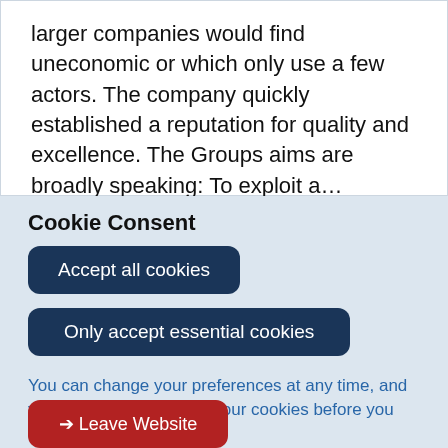larger companies would find uneconomic or which only use a few actors. The company quickly established a reputation for quality and excellence. The Groups aims are broadly speaking: To exploit a…
Sir John Mills Theatre, Gatacre Road
Cookie Consent
Accept all cookies
Only accept essential cookies
You can change your preferences at any time, and you can read more about our cookies before you choose.
Leave Website